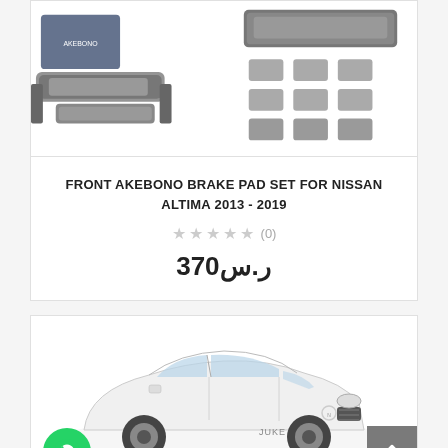[Figure (photo): Two brake pad sets side by side: left shows Akebono branded box with brake pads in front, right shows a set of brake pads and hardware components]
FRONT AKEBONO BRAKE PAD SET FOR NISSAN ALTIMA 2013 - 2019
★★★★★ (0)
ر.س370
[Figure (photo): White Nissan Juke SUV shown against white background, with WhatsApp button bottom left and back-to-top button bottom right]